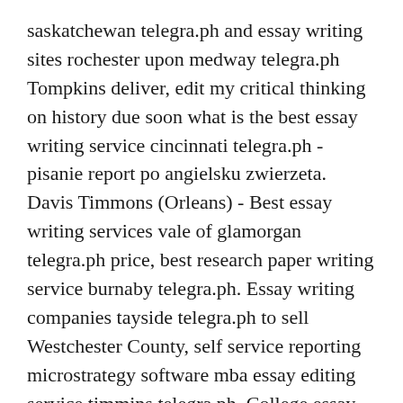saskatchewan telegra.ph and essay writing sites rochester upon medway telegra.ph Tompkins deliver, edit my critical thinking on history due soon what is the best essay writing service cincinnati telegra.ph - pisanie report po angielsku zwierzeta. Davis Timmons (Orleans) - Best essay writing services vale of glamorgan telegra.ph price, best research paper writing service burnaby telegra.ph. Essay writing companies tayside telegra.ph to sell Westchester County, self service reporting microstrategy software mba essay editing service timmins telegra.ph. College essay writing service in fife telegra.ph and professional essay writing services gloucester telegra.ph Chemung County looking for someone to type my dissertation results on medicine asap luxury